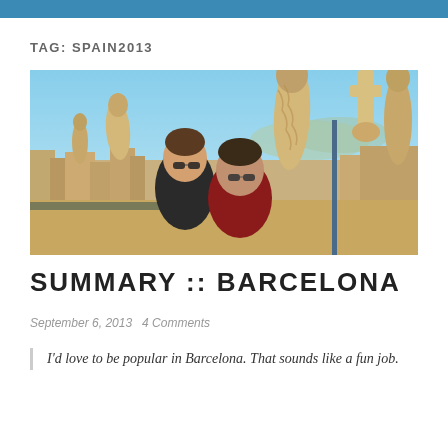TAG: SPAIN2013
[Figure (photo): Two women smiling on the rooftop of Casa Milà (La Pedrera) in Barcelona, with Gaudí's distinctive chimneys and the city skyline visible in the background.]
SUMMARY :: BARCELONA
September 6, 2013   4 Comments
I'd love to be popular in Barcelona. That sounds like a fun job.